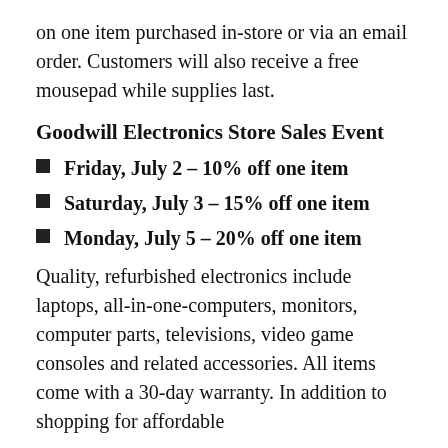on one item purchased in-store or via an email order. Customers will also receive a free mousepad while supplies last.
Goodwill Electronics Store Sales Event
Friday, July 2 – 10% off one item
Saturday, July 3 – 15% off one item
Monday, July 5 – 20% off one item
Quality, refurbished electronics include laptops, all-in-one-computers, monitors, computer parts, televisions, video game consoles and related accessories. All items come with a 30-day warranty. In addition to shopping for affordable